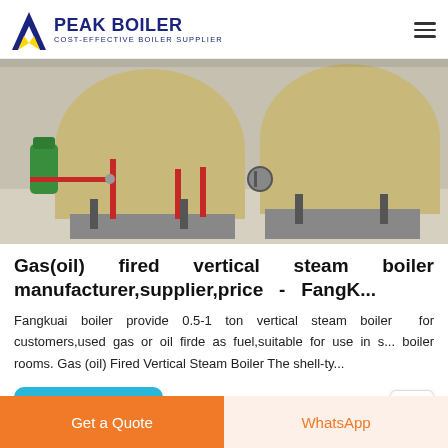[Figure (logo): Peak Boiler logo with blue house/flame icon and text 'PEAK BOILER - COST-EFFECTIVE BOILER SUPPLIER']
[Figure (photo): Industrial gas/oil fired vertical steam boilers installed in a factory facility, showing pipes and fittings]
Gas(oil) fired vertical steam boiler manufacturer,supplier,price - FangK...
Fangkuai boiler provide 0.5-1 ton vertical steam boiler for customers,used gas or oil firde as fuel,suitable for use in s... boiler rooms. Gas (oil) Fired Vertical Steam Boiler The shell-ty...
Get price
Get a Quote
WhatsApp